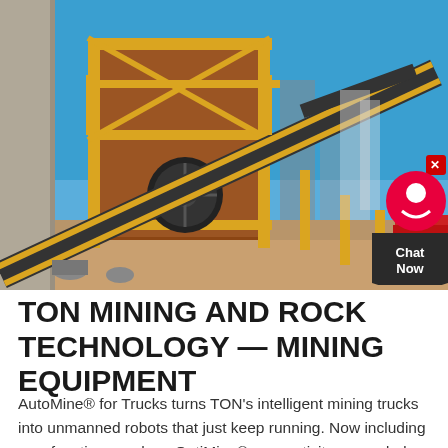[Figure (photo): Outdoor mining facility with large yellow and rust-colored crushing and conveyor equipment under a clear blue sky. Industrial machinery including a jaw crusher and conveyor belts on dirt ground.]
TON MINING AND ROCK TECHNOLOGY — MINING EQUIPMENT
AutoMine® for Trucks turns TON's intelligent mining trucks into unmanned robots that just keep running. Now including new functions such as OptiMine® connectivity, upgraded Access